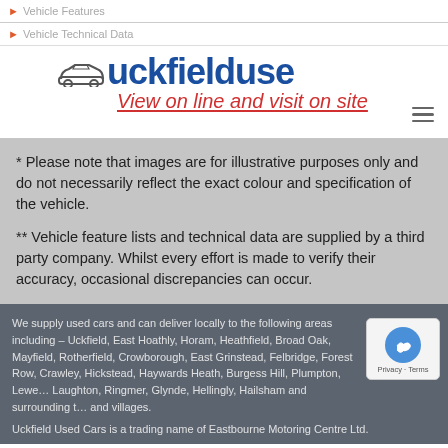Vehicle Features
Vehicle Technical Data
[Figure (logo): Uckfield Used Cars logo with car icon and tagline 'View on line and visit on site']
* Please note that images are for illustrative purposes only and do not necessarily reflect the exact colour and specification of the vehicle.
** Vehicle feature lists and technical data are supplied by a third party company. Whilst every effort is made to verify their accuracy, occasional discrepancies can occur.
We supply used cars and can deliver locally to the following areas including – Uckfield, East Hoathly, Horam, Heathfield, Broad Oak, Mayfield, Rotherfield, Crowborough, East Grinstead, Felbridge, Forest Row, Crawley, Hickstead, Haywards Heath, Burgess Hill, Plumpton, Lewes, Laughton, Ringmer, Glynde, Hellingly, Hailsham and surrounding towns and villages.
Uckfield Used Cars is a trading name of Eastbourne Motoring Centre Ltd.